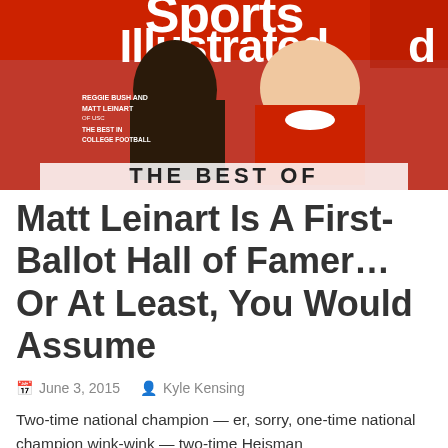[Figure (photo): Sports Illustrated magazine cover featuring Reggie Bush and Matt Leinart of USC, with text 'THE BEST IN COLLEGE FOOTBALL' and 'THE BEST OF' across the bottom banner on a red background.]
Matt Leinart Is A First-Ballot Hall of Famer…Or At Least, You Would Assume
June 3, 2015   Kyle Kensing
Two-time national champion — er, sorry, one-time national champion wink-wink — two-time Heisman